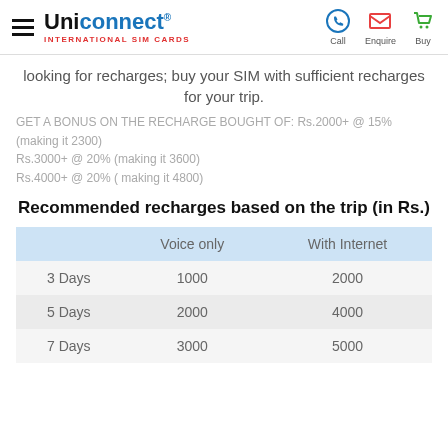Uniconnect INTERNATIONAL SIM CARDS
looking for recharges; buy your SIM with sufficient recharges for your trip.
GET A BONUS ON THE RECHARGE BOUGHT OF: Rs.2000+ @ 15% (making it 2300)
Rs.3000+ @ 20% (making it 3600)
Rs.4000+ @ 20% ( making it 4800)
Recommended recharges based on the trip (in Rs.)
|  | Voice only | With Internet |
| --- | --- | --- |
| 3 Days | 1000 | 2000 |
| 5 Days | 2000 | 4000 |
| 7 Days | 3000 | 5000 |